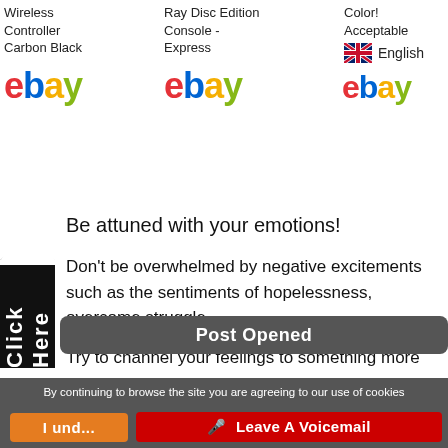Wireless Controller Carbon Black
[Figure (logo): eBay logo colored text]
Ray Disc Edition Console - Express
[Figure (logo): eBay logo colored text]
Color! Acceptable
[Figure (logo): UK flag and English text with partial eBay logo]
[Figure (screenshot): Motivational blog article screenshot with curled corner and Click Here sidebar. Text: Be attuned with your emotions! Don't be overwhelmed by negative excitements such as the sentiments of hopelessness, overcome struggle. Try to channel your feelings to something more positive such as getting ahead with your work or finishing the task at]
Post Opened
By continuing to browse the site you are agreeing to our use of cookies
I und...
Leave A Voicemail